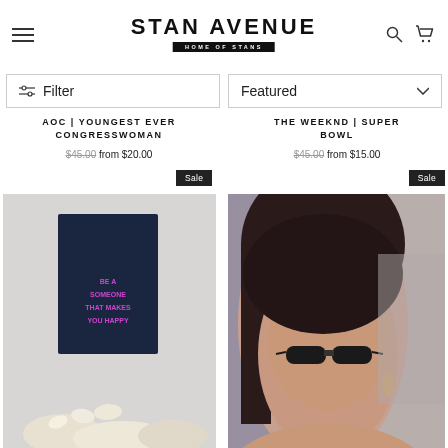STAN AVENUE — HOME OF STANS
Filter
Featured
AOC | YOUNGEST EVER CONGRESSWOMAN
$45.00 from $20.00
THE WEEKND | SUPER BOWL
$45.00 from $15.00
Sale
Sale
[Figure (photo): Neon sign poster reading BE SOMEONE THAT MAKES YOU HAPPY with flowers]
[Figure (photo): Portrait photo of a woman with dark hair and sunglasses]